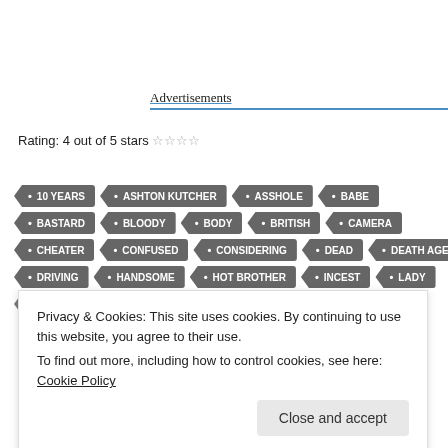Advertisements
Rating: 4 out of 5 stars ☆☆☆☆
[Figure (other): Tag cloud with movie-related keywords: 10 YEARS, ASHTON KUTCHER, ASSHOLE, BABE, BASTARD, BLOODY, BODY, BRITISH, CAMERA, CHEATER, CONFUSED, CONSIDERING, DEAD, DEATH AGE, DRIVING, HANDSOME, HOT BROTHER, INCEST, LADY, MANIAC, MARQUEE, MARRIED, MURDER]
Privacy & Cookies: This site uses cookies. By continuing to use this website, you agree to their use. To find out more, including how to control cookies, see here: Cookie Policy
Close and accept